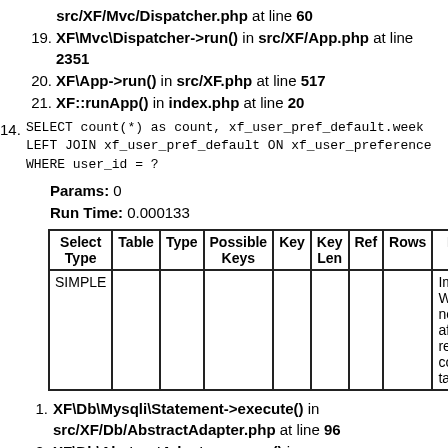XF\Mvc\Dispatcher->run() in src/XF/App.php at line 60
19. XF\Mvc\Dispatcher->run() in src/XF/App.php at line 2351
20. XF\App->run() in src/XF.php at line 517
21. XF::runApp() in index.php at line 20
14. SELECT count(*) as count, xf_user_pref_default.week LEFT JOIN xf_user_pref_default ON xf_user_preference WHERE user_id = ?
Params: 0
Run Time: 0.000133
| Select Type | Table | Type | Possible Keys | Key | Key Len | Ref | Rows | Extra |
| --- | --- | --- | --- | --- | --- | --- | --- | --- |
| SIMPLE |  |  |  |  |  |  |  | Imposs WHERE noticed after reading const tables |
1. XF\Db\Mysqli\Statement->execute() in src/XF/Db/AbstractAdapter.php at line 96
2. XF\Db\AbstractAdapter->query() in